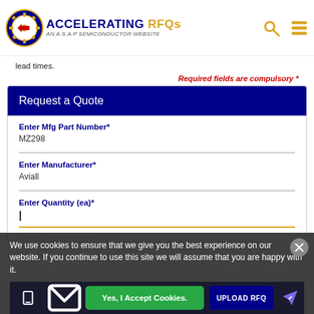Accelerating RFQs - An A.S.A.P Semiconductor Website
lead times.
Required fields are compulsory *
Request a Quote
Enter Mfg Part Number*
MZ298
Enter Manufacturer*
Aviall
Enter Quantity (ea)*
Enter Target Price (ea) USD
We use cookies to ensure that we give you the best experience on our website. If you continue to use this site we will assume that you are happy with it.
Yes, I Accept Cookies.
UPLOAD RFQ